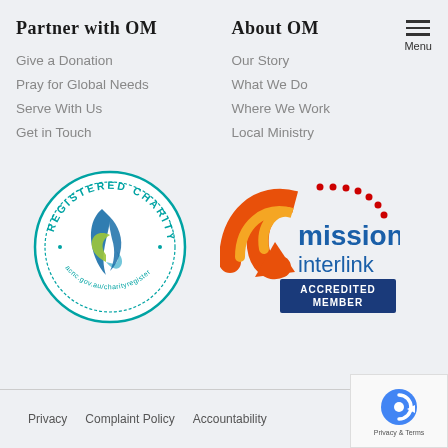Partner with OM
About OM
Give a Donation
Pray for Global Needs
Serve With Us
Get in Touch
Our Story
What We Do
Where We Work
Local Ministry
[Figure (logo): Registered Charity badge - ACNC registered charity logo with circular design, acnc.gov.au/charityregister]
[Figure (logo): Missions Interlink Accredited Member logo with orange swoosh arrow and dark blue accredited member banner]
Privacy   Complaint Policy   Accountability